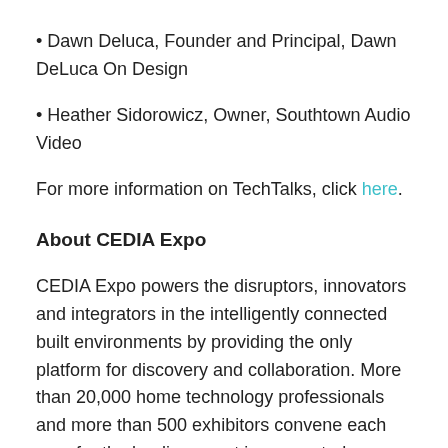• Dawn Deluca, Founder and Principal, Dawn DeLuca On Design
• Heather Sidorowicz, Owner, Southtown Audio Video
For more information on TechTalks, click here.
About CEDIA Expo
CEDIA Expo powers the disruptors, innovators and integrators in the intelligently connected built environments by providing the only platform for discovery and collaboration. More than 20,000 home technology professionals and more than 500 exhibitors convene each year for the leading event in connected technology and connected built environments. CEDIA Expo is the place for system integrators to experience new products and breakthrough innovations first and to access targeted training in technology integration. CEDIA Expo 2018 takes